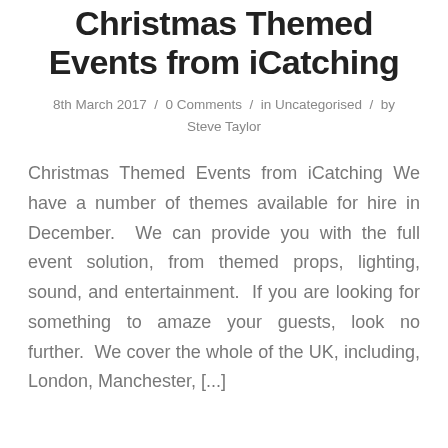Christmas Themed Events from iCatching
8th March 2017  /  0 Comments  /  in Uncategorised  /  by Steve Taylor
Christmas Themed Events from iCatching We have a number of themes available for hire in December.  We can provide you with the full event solution, from themed props, lighting, sound, and entertainment.  If you are looking for something to amaze your guests, look no further.  We cover the whole of the UK, including, London, Manchester, [...]